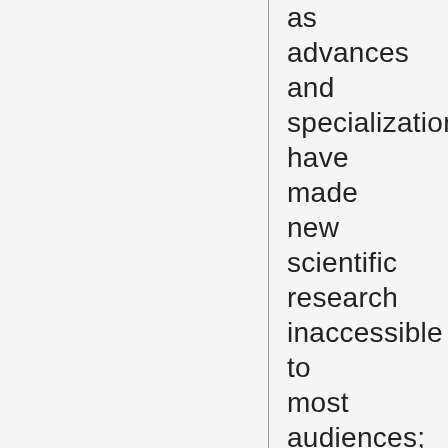as advances and specialization have made new scientific research inaccessible to most audiences; science now appears